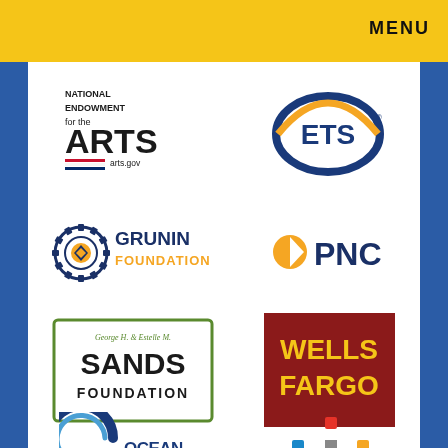MENU
[Figure (logo): National Endowment for the Arts logo — text reads NATIONAL ENDOWMENT for the ARTS arts.gov with red/white/blue stripes]
[Figure (logo): ETS logo — blue and gold oval with ETS text]
[Figure (logo): Grunin Foundation logo — gear/mandala icon with GRUNIN FOUNDATION text in orange and navy]
[Figure (logo): PNC logo — orange triangle icon with PNC text in navy]
[Figure (logo): George H. & Estelle M. Sands Foundation logo — green border box with script and bold type]
[Figure (logo): Wells Fargo logo — dark red/maroon box with WELLS FARGO in gold text]
[Figure (logo): OceanFirst logo — blue partial circle icon with OceanFirst text]
[Figure (logo): NKF (or similar) logo — colorful plus/cross icon with text]